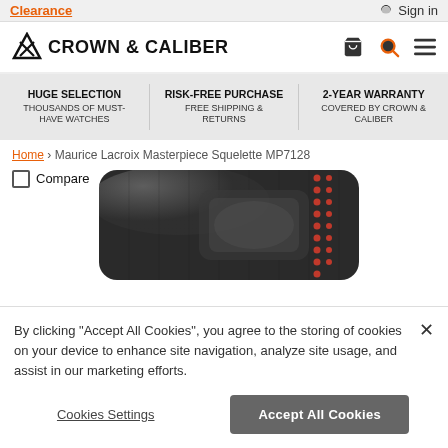Clearance | Sign in
[Figure (logo): Crown & Caliber logo with triangle X icon, cart icon, orange search icon, and hamburger menu icon]
HUGE SELECTION THOUSANDS OF MUST-HAVE WATCHES | RISK-FREE PURCHASE FREE SHIPPING & RETURNS | 2-YEAR WARRANTY COVERED BY CROWN & CALIBER
Home › Maurice Lacroix Masterpiece Squelette MP7128
Compare
[Figure (photo): Close-up of a watch strap or case in dark leather/rubber with red stitching detail]
By clicking "Accept All Cookies", you agree to the storing of cookies on your device to enhance site navigation, analyze site usage, and assist in our marketing efforts.
Cookies Settings
Accept All Cookies